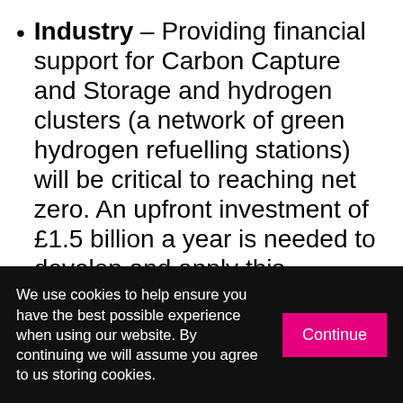Industry – Providing financial support for Carbon Capture and Storage and hydrogen clusters (a network of green hydrogen refuelling stations) will be critical to reaching net zero. An upfront investment of £1.5 billion a year is needed to develop and apply this technology.
The IPPR report also emphasises the importance of ensuring the transition to a net zero economy is done fairly. The think tank has previously proposed a Just Transition Fund amongst other measures to support communities negatively
We use cookies to help ensure you have the best possible experience when using our website. By continuing we will assume you agree to us storing cookies.